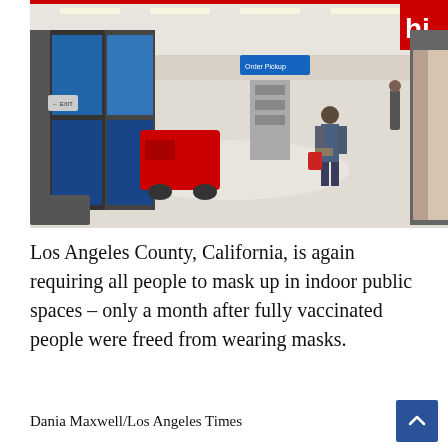[Figure (photo): Interior of a Target store showing a shopper walking through a wide aisle with red fixtures, refrigerators on the left, a red Hi sign on the upper right, and overhead fluorescent lighting.]
Los Angeles County, California, is again requiring all people to mask up in indoor public spaces – only a month after fully vaccinated people were freed from wearing masks.
Dania Maxwell/Los Angeles Times